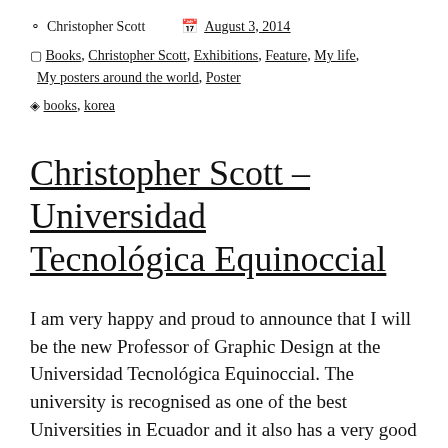Christopher Scott   August 3, 2014
Books, Christopher Scott, Exhibitions, Feature, My life, My posters around the world, Poster
books, korea
Christopher Scott – Universidad Tecnológica Equinoccial
I am very happy and proud to announce that I will be the new Professor of Graphic Design at the Universidad Tecnológica Equinoccial. The university is recognised as one of the best Universities in Ecuador and it also has a very good reputation in the field of Graphic Design. So it is very good move